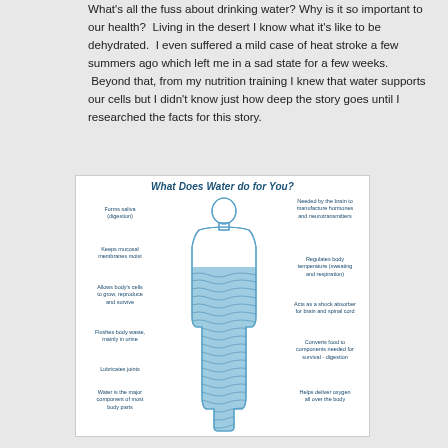What's all the fuss about drinking water? Why is it so important to our health? Living in the desert I know what it's like to be dehydrated. I even suffered a mild case of heat stroke a few summers ago which left me in a sad state for a few weeks. Beyond that, from my nutrition training I knew that water supports our cells but I didn't know just how deep the story goes until I researched the facts for this story.
[Figure (infographic): Infographic showing a human body silhouette partially filled with water, with labels around it describing what water does for the body: Forms saliva (digestion), Keeps mucosal membranes moist, Allows body's cells to grow, reproduce and survive, Flushes body waste mainly in urine, Lubricates joints, Water is the major component of most body parts, Needed by the brain to manufacture hormones and neurotransmitters, Regulates body temperature (sweating and respiration), Acts as a shock absorber for brain and spinal cord, Converts food to components needed for survival - digestion, Helps deliver oxygen all over the body]